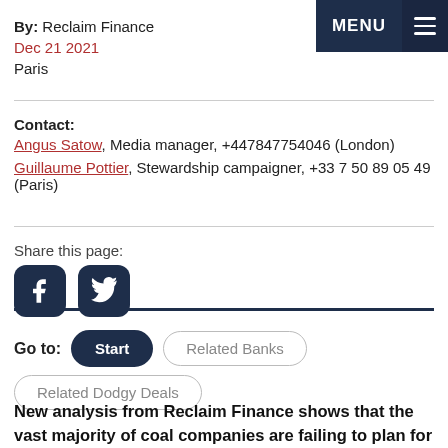By: Reclaim Finance
Dec 21 2021
Paris
Contact:
Angus Satow, Media manager, +447847754046 (London)
Guillaume Pottier, Stewardship campaigner, +33 7 50 89 05 49 (Paris)
Share this page:
[Figure (other): Facebook and Twitter social media share icons]
Go to: Start | Related Banks | Related Dodgy Deals
New analysis from Reclaim Finance shows that the vast majority of coal companies are failing to plan for an exit